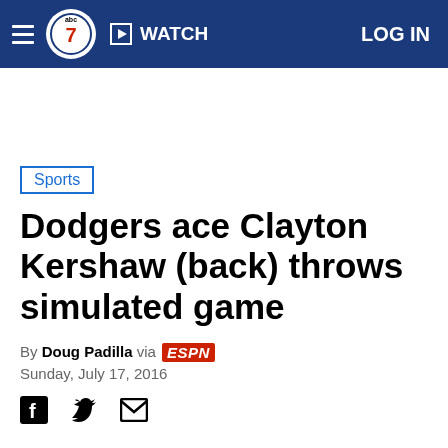ABC7 News — WATCH — LOG IN
Sports
Dodgers ace Clayton Kershaw (back) throws simulated game
By Doug Padilla via ESPN
Sunday, July 17, 2016
[Figure (other): Social sharing icons: Facebook, Twitter, Email]